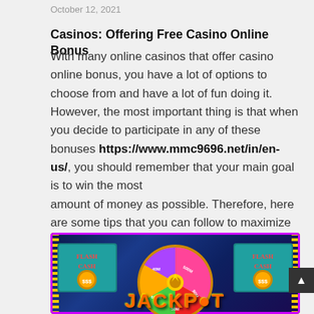October 12, 2021
Casinos: Offering Free Casino Online Bonus
With many online casinos that offer casino online bonus, you have a lot of options to choose from and have a lot of fun doing it. However, the most important thing is that when you decide to participate in any of these bonuses https://www.mmc9696.net/in/en-us/, you should remember that your main goal is to win the most amount of money as possible. Therefore, here are some tips that you can follow to maximize your winnings in the casinos:
[Figure (photo): Casino slot machine game screen showing a spinning prize wheel with colorful segments labeled with monetary amounts (50M, 90M, 500M, etc.), flanked by two 'Flash Cash' slot panels with gold and neon decorations on a dark blue background. Large jackpot text visible at bottom.]